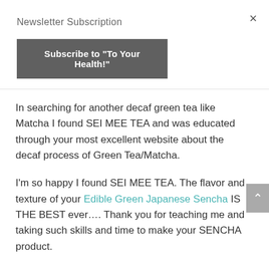Newsletter Subscription
× (close button)
Subscribe to "To Your Health!"
In searching for another decaf green tea like Matcha I found SEI MEE TEA and was educated through your most excellent website about the decaf process of Green Tea/Matcha.
I'm so happy I found SEI MEE TEA. The flavor and texture of your Edible Green Japanese Sencha IS THE BEST ever.... Thank you for teaching me and taking such skills and time to make your SENCHA product.
I make this every morning to start my day. It is my HAPPY place…  1/2 a teaspoon of Sencha